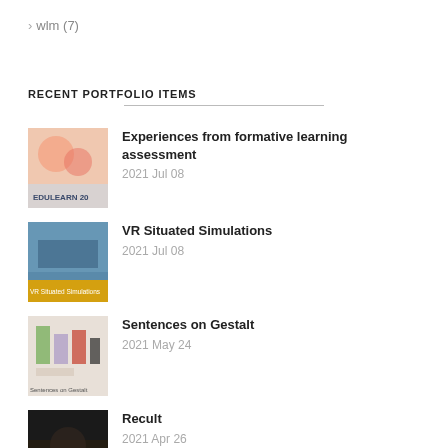> wlm (7)
RECENT PORTFOLIO ITEMS
Experiences from formative learning assessment
2021 Jul 08
VR Situated Simulations
2021 Jul 08
Sentences on Gestalt
2021 May 24
Recult
2021 Apr 26
Gestaltande inom designämnet